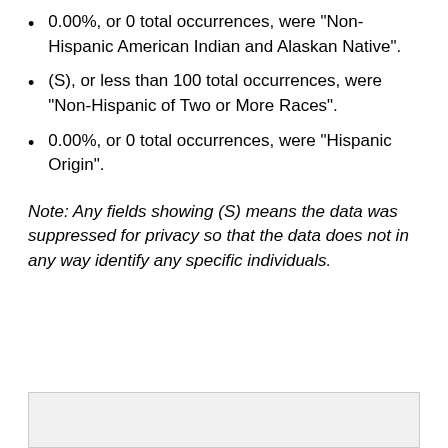0.00%, or 0 total occurrences, were "Non-Hispanic American Indian and Alaskan Native".
(S), or less than 100 total occurrences, were "Non-Hispanic of Two or More Races".
0.00%, or 0 total occurrences, were "Hispanic Origin".
Note: Any fields showing (S) means the data was suppressed for privacy so that the data does not in any way identify any specific individuals.